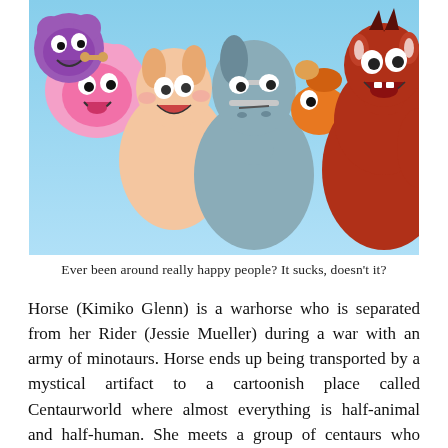[Figure (illustration): Cartoon illustration of animated characters from Centaurworld: a pink fluffy creature, a horse-like centaur, a grey warhorse in center, a small orange bird-like creature, and a reddish muscular centaur, all with expressive happy/cheerful faces against a light blue background.]
Ever been around really happy people? It sucks, doesn't it?
Horse (Kimiko Glenn) is a warhorse who is separated from her Rider (Jessie Mueller) during a war with an army of minotaurs. Horse ends up being transported by a mystical artifact to a cartoonish place called Centaurworld where almost everything is half-animal and half-human. She meets a group of centaurs who agree to help her: Alpaca centaur Wammawink (Megan Hilty), zebra centaur Zulius (Parvesh Cheena), finch centaur Ched